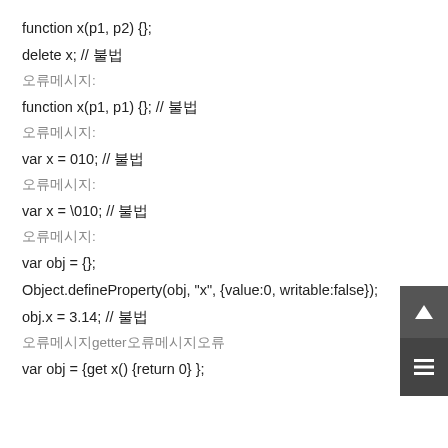function x(p1, p2) {};
delete x; // 오류
오류메시지:
function x(p1, p1) {}; // 오류
오류메시지:
var x = 010; // 오류
오류메시지:
var x = \010; // 오류
오류메시지:
var obj = {};
Object.defineProperty(obj, "x", {value:0, writable:false});
obj.x = 3.14; // 오류
오류메시지getter오류메시지오류
var obj = {get x() {return 0} };